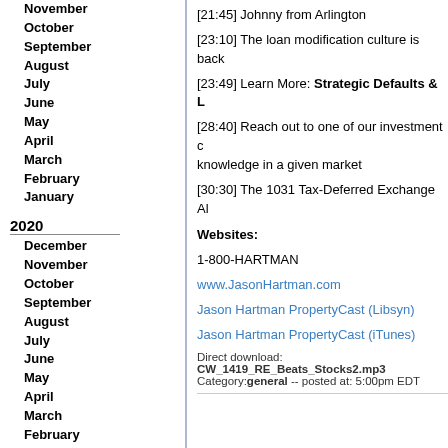November
October
September
August
July
June
May
April
March
February
January
2020
December
November
October
September
August
July
June
May
April
March
February
January
2019
December
November
October
September
August
[21:45] Johnny from Arlington
[23:10] The loan modification culture is back
[23:49] Learn More: Strategic Defaults & L
[28:40] Reach out to one of our investment c knowledge in a given market
[30:30] The 1031 Tax-Deferred Exchange Al
Websites:
1-800-HARTMAN
www.JasonHartman.com
Jason Hartman PropertyCast (Libsyn)
Jason Hartman PropertyCast (iTunes)
Direct download: CW_1419_RE_Beats_Stocks2.mp3 Category:general -- posted at: 5:00pm EDT